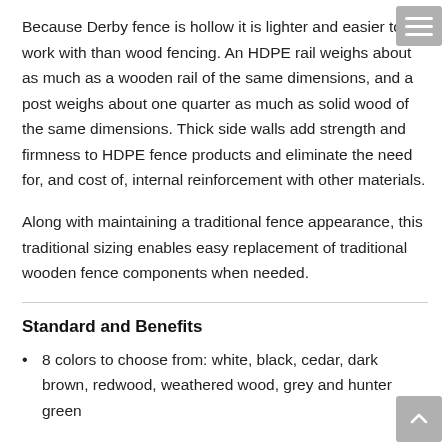Because Derby fence is hollow it is lighter and easier to work with than wood fencing. An HDPE rail weighs about as much as a wooden rail of the same dimensions, and a post weighs about one quarter as much as solid wood of the same dimensions. Thick side walls add strength and firmness to HDPE fence products and eliminate the need for, and cost of, internal reinforcement with other materials.
Along with maintaining a traditional fence appearance, this traditional sizing enables easy replacement of traditional wooden fence components when needed.
Standard and Benefits
8 colors to choose from: white, black, cedar, dark brown, redwood, weathered wood, grey and hunter green